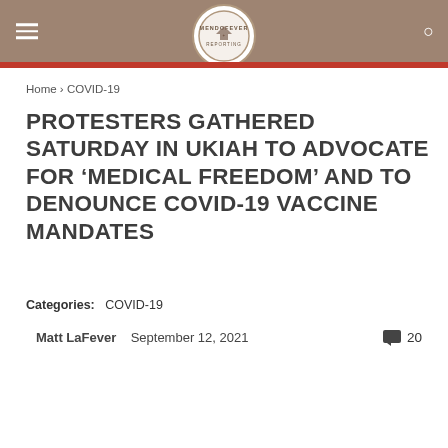[Figure (logo): MendoFever Reporting circular logo in the center of the header bar]
MendoFever Reporting — navigation header with hamburger menu and search icon
Home › COVID-19
PROTESTERS GATHERED SATURDAY IN UKIAH TO ADVOCATE FOR 'MEDICAL FREEDOM' AND TO DENOUNCE COVID-19 VACCINE MANDATES
Categories:   COVID-19
Matt LaFever   September 12, 2021   💬 20